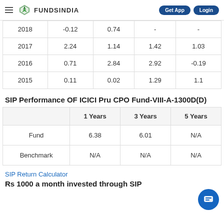FundsIndia — Get App | Login
| Year | Col1 | Col2 | Col3 | Col4 |
| --- | --- | --- | --- | --- |
| 2018 | -0.12 | 0.74 | - | - |
| 2017 | 2.24 | 1.14 | 1.42 | 1.03 |
| 2016 | 0.71 | 2.84 | 2.92 | -0.19 |
| 2015 | 0.11 | 0.02 | 1.29 | 1.1 |
SIP Performance OF ICICI Pru CPO Fund-VIII-A-1300D(D)
|  | 1 Years | 3 Years | 5 Years |
| --- | --- | --- | --- |
| Fund | 6.38 | 6.01 | N/A |
| Benchmark | N/A | N/A | N/A |
SIP Return Calculator
Rs 1000 a month invested through SIP